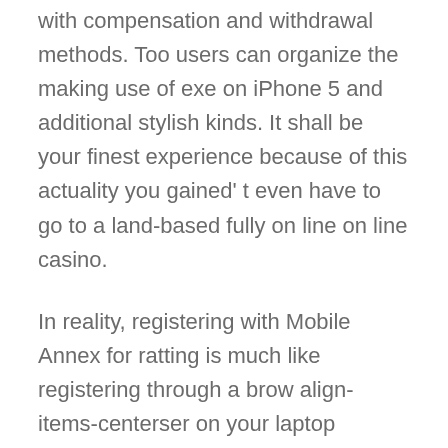with compensation and withdrawal methods. Too users can organize the making use of exe on iPhone 5 and additional stylish kinds. It shall be your finest experience because of this actuality you gained' t even have to go to a land-based fully on line on line casino.
In reality, registering with Mobile Annex for ratting is much like registering through a brow align-items-centerser on your laptop computer. The reality is that there are only a few countries in world the place video games of likelihood are officially allowed and judicial. Another offer which can interest you is SBK mobile application for gamers further described in our article. [newline]Over the years of work on the worldwide market, the 1xBet affiliate program